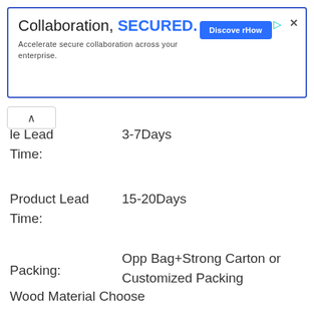[Figure (screenshot): Advertisement banner: 'Collaboration, SECURED.' with subtitle 'Accelerate secure collaboration across your enterprise.' and a blue 'Discover How' button with play and close icons.]
le Lead Time: 3-7Days
Product Lead Time: 15-20Days
Packing: Opp Bag+Strong Carton or Customized Packing
Wood Material Choose